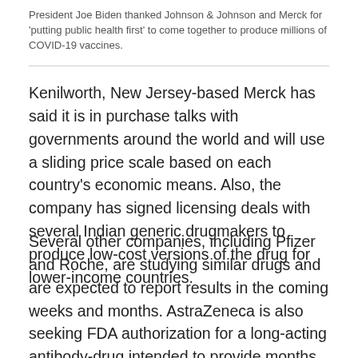President Joe Biden thanked Johnson & Johnson and Merck for 'putting public health first' to come together to produce millions of COVID-19 vaccines.
Kenilworth, New Jersey-based Merck has said it is in purchase talks with governments around the world and will use a sliding price scale based on each country's economic means. Also, the company has signed licensing deals with several Indian generic drugmakers to produce low-cost versions of the drug for lower-income countries.
Several other companies, including Pfizer and Roche, are studying similar drugs and are expected to report results in the coming weeks and months. AstraZeneca is also seeking FDA authorization for a long-acting antibody-drug intended to provide months of protection for patients who have immune-system